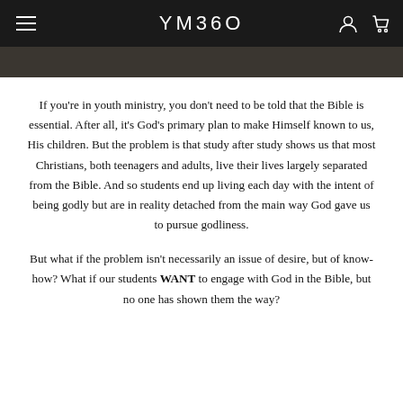YM360
If you're in youth ministry, you don't need to be told that the Bible is essential. After all, it's God's primary plan to make Himself known to us, His children. But the problem is that study after study shows us that most Christians, both teenagers and adults, live their lives largely separated from the Bible. And so students end up living each day with the intent of being godly but are in reality detached from the main way God gave us to pursue godliness.
But what if the problem isn't necessarily an issue of desire, but of know-how? What if our students WANT to engage with God in the Bible, but no one has shown them the way?